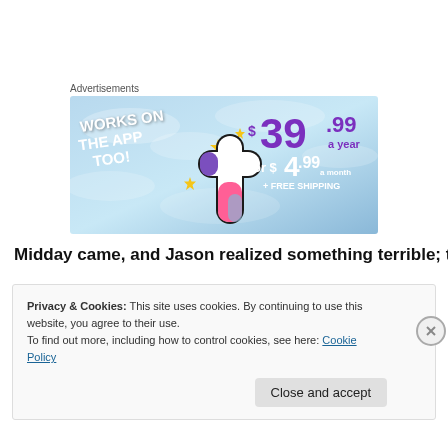Advertisements
[Figure (illustration): Tumblr Plus advertisement banner with light blue sky background. Shows 'WORKS ON THE APP TOO!' text on the left, Tumblr 't' logo in pink/purple/white in the center with yellow sparkle stars, and pricing '$39.99 a year or $4.99 a month + FREE SHIPPING' on the right.]
Midday came, and Jason realized something terrible; there
Privacy & Cookies: This site uses cookies. By continuing to use this website, you agree to their use.
To find out more, including how to control cookies, see here: Cookie Policy
Close and accept